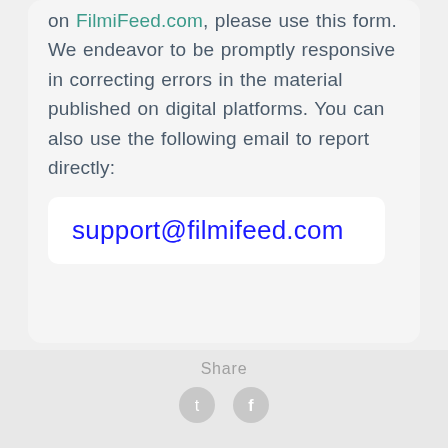on FilmiFeed.com, please use this form. We endeavor to be promptly responsive in correcting errors in the material published on digital platforms. You can also use the following email to report directly:
support@filmifeed.com
« Diana Day
Mary-Rachel Foot »
Share